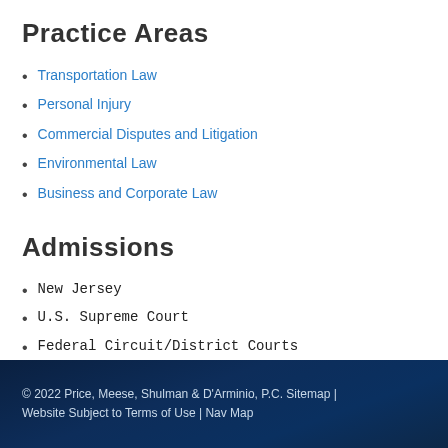Practice Areas
Transportation Law
Personal Injury
Commercial Disputes and Litigation
Environmental Law
Business and Corporate Law
Admissions
New Jersey
U.S. Supreme Court
Federal Circuit/District Courts
© 2022 Price, Meese, Shulman & D'Arminio, P.C. Sitemap | Website Subject to Terms of Use | Nav Map